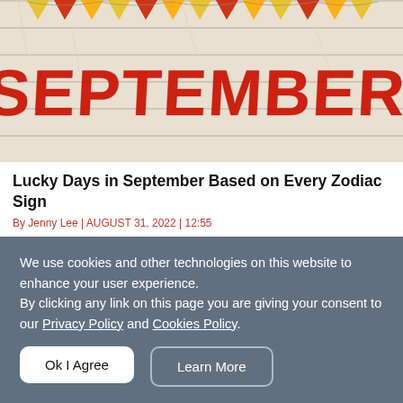[Figure (photo): Hero image with the word SEPTEMBER written in red brush lettering on a light wood plank background with colorful bunting flags at the top]
Lucky Days in September Based on Every Zodiac Sign
By Jenny Lee | AUGUST 31, 2022 | 12:55
Join astrology experts to find the lucky days in September 2022 of 12 constellations to receive the best things in life.
We use cookies and other technologies on this website to enhance your user experience.
By clicking any link on this page you are giving your consent to our Privacy Policy and Cookies Policy.
Ok I Agree
Learn More